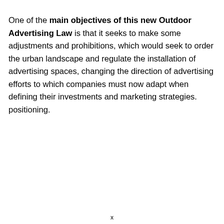One of the main objectives of this new Outdoor Advertising Law is that it seeks to make some adjustments and prohibitions, which would seek to order the urban landscape and regulate the installation of advertising spaces, changing the direction of advertising efforts to which companies must now adapt when defining their investments and marketing strategies. positioning.
x